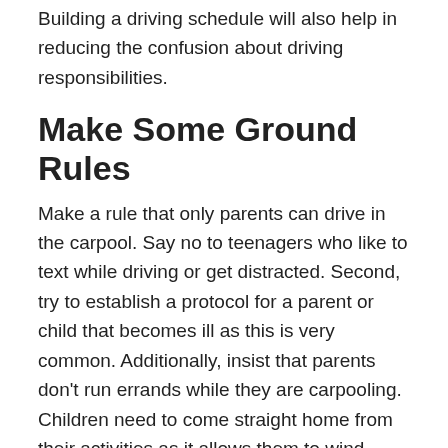Building a driving schedule will also help in reducing the confusion about driving responsibilities.
Make Some Ground Rules
Make a rule that only parents can drive in the carpool. Say no to teenagers who like to text while driving or get distracted. Second, try to establish a protocol for a parent or child that becomes ill as this is very common. Additionally, insist that parents don't run errands while they are carpooling. Children need to come straight home from their activities as it allows them to wind down from the day. It can be challenging doing this in the car while someone goes to the grocery store or stops to pick up their dry cleaning.
Safety First